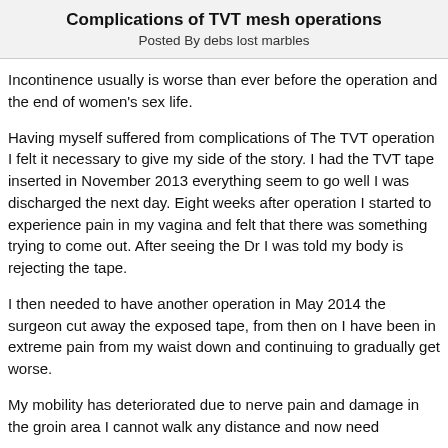Complications of TVT mesh operations
Posted By debs lost marbles
Incontinence usually is worse than ever before the operation and the end of women's sex life.
Having myself suffered from complications of The TVT operation I felt it necessary to give my side of the story. I had the TVT tape inserted in November 2013 everything seem to go well I was discharged the next day. Eight weeks after operation I started to experience pain in my vagina and felt that there was something trying to come out. After seeing the Dr I was told my body is rejecting the tape.
I then needed to have another operation in May 2014 the surgeon cut away the exposed tape, from then on I have been in extreme pain from my waist down and continuing to gradually get worse.
My mobility has deteriorated due to nerve pain and damage in the groin area I cannot walk any distance and now need